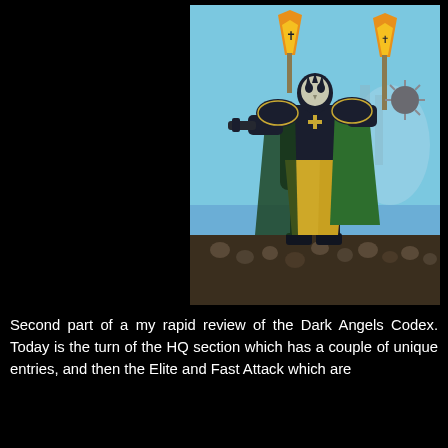[Figure (illustration): A Warhammer 40,000 Dark Angels Space Marine warrior in dark power armor striding forward over a field of skulls, wielding a flaming torch/standard in one hand and a spiked mace in the other, with a green cape, golden robe, and dramatic blue/teal background with shadowy figures.]
Second part of a my rapid review of the Dark Angels Codex. Today is the turn of the HQ section which has a couple of unique entries, and then the Elite and Fast Attack which are